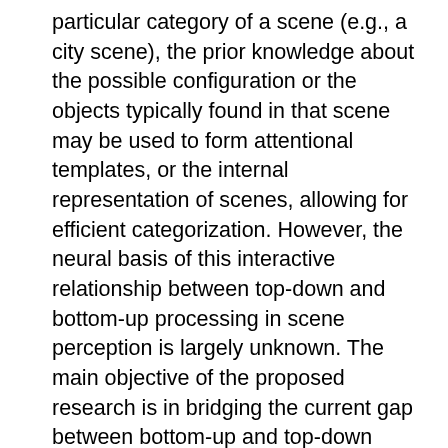particular category of a scene (e.g., a city scene), the prior knowledge about the possible configuration or the objects typically found in that scene may be used to form attentional templates, or the internal representation of scenes, allowing for efficient categorization. However, the neural basis of this interactive relationship between top-down and bottom-up processing in scene perception is largely unknown. The main objective of the proposed research is in bridging the current gap between bottom-up and top-down neural processes of scene categorization. The central hypothesis is that the statistical regularities of scenes--defined in image statistics-- that are consistent acros scenes of a particular category (e.g., different city scenes) serve as effective top- down biasing signals (or category templates) in guiding efficient categorization. We will examine the neural mechanisms of scene perception in normal and object agnostic individuals, those who have severe difficulty recognizing objects due to brain damage in the ventral visual system. By using